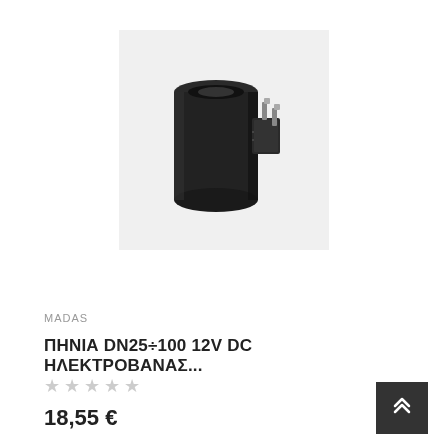[Figure (photo): Black cylindrical solenoid coil with electrical connector pins on the side, shown on a light gray background.]
MADAS
ΠΗΝΙΑ DN25÷100 12V DC ΗΛΕΚΤΡΟΒΑΝΑΣ...
★ ★ ★ ★ ★ (empty stars rating)
18,55 €